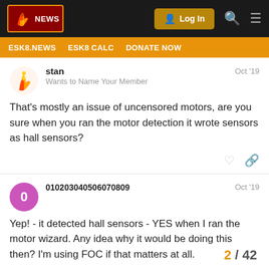ESK8.NEWS | ESK8 CALC | DONATE NOW
stan  Oct '19
Wants to Name Your Member
That's mostly an issue of uncensored motors, are you sure when you ran the motor detection it wrote sensors as hall sensors?
010203040506070809  Oct '19
Yep! - it detected hall sensors - YES when I ran the motor wizard. Any idea why it would be doing this then? I'm using FOC if that matters at all.
2 / 42